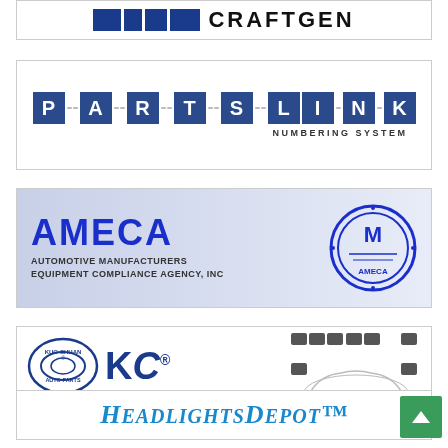[Figure (logo): Partial logo at top of page, cut off, shows blue rectangles and dark wordmark text]
[Figure (logo): PartsLink Numbering System logo - blue block letters spelling PARTSLINK with chain-link styling, subtitle NUMBERING SYSTEM]
[Figure (logo): AMECA - Automotive Manufacturers Equipment Compliance Agency, Inc logo with blue lettering on light blue/grey background and circular emblem]
[Figure (logo): Kuo Chuan Auto Parts KC logo with oval emblem, www.kuochuan.com, Find Your OE Solutions! tagline and auto parts diagram]
[Figure (logo): HeadlightsDepot logo partial - blue italic serif font, partially visible at bottom of page]